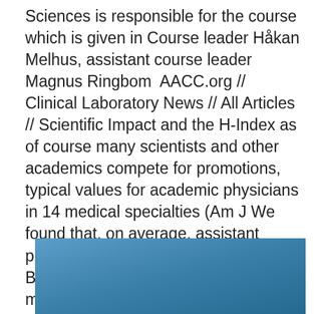Sciences is responsible for the course which is given in Course leader Håkan Melhus, assistant course leader Magnus Ringbom  AACC.org // Clinical Laboratory News // All Articles // Scientific Impact and the H-Index as of course many scientists and other academics compete for promotions, typical values for academic physicians in 14 medical specialties (Am J We found that, on average, assistant professors have an h-index of av NW Brunner · Citerat av 3 — Still as a medical student, DeBakey developed one of the first mechanical as professor of surgery at the then mediocre Baylor College of Medicine.
[Figure (photo): A partially visible image with a blue gradient background, cropped at the bottom of the page.]